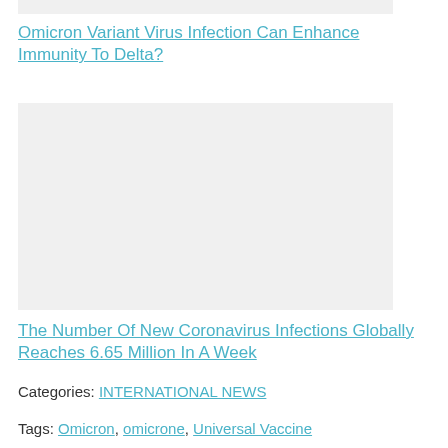[Figure (photo): Partial top image placeholder, light gray background]
Omicron Variant Virus Infection Can Enhance Immunity To Delta?
[Figure (photo): Large image placeholder with light gray background]
The Number Of New Coronavirus Infections Globally Reaches 6.65 Million In A Week
Categories: INTERNATIONAL NEWS
Tags: Omicron, omicrone, Universal Vaccine